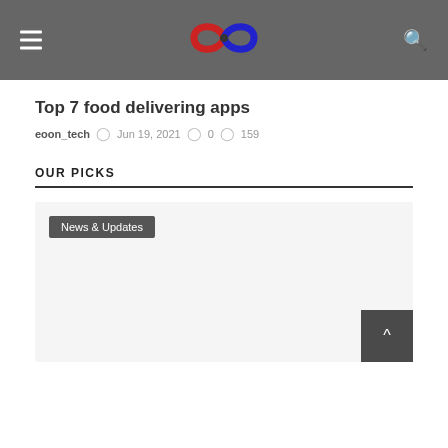[Figure (logo): Infinity symbol logo in red and blue colors on dark gray navigation bar]
Top 7 food delivering apps
eoon_tech  Jun 19, 2021  0  159
OUR PICKS
News & Updates